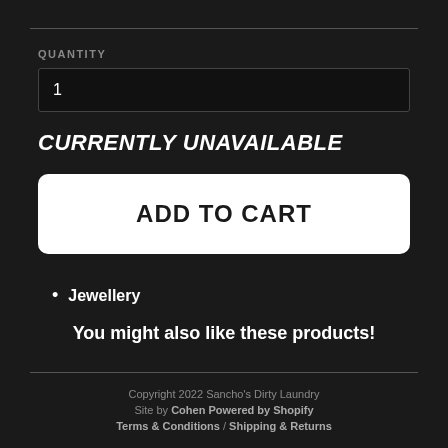QUANTITY
1
CURRENTLY UNAVAILABLE
ADD TO CART
Jewellery
You might also like these products!
Copyright 2022 Sancho's Dirty Laundry Site by Cohen Powered by Shopify Terms & Conditions / Shipping & Returns